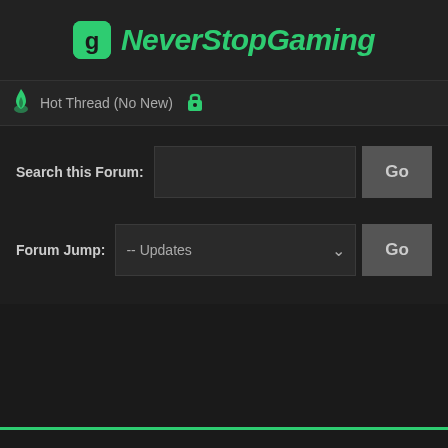[Figure (logo): NeverStopGaming logo with green 'g' icon in rounded square and green italic bold text]
Hot Thread (No New)
[Figure (illustration): Search this Forum input field with Go button, and Forum Jump dropdown with -- Updates and Go button]